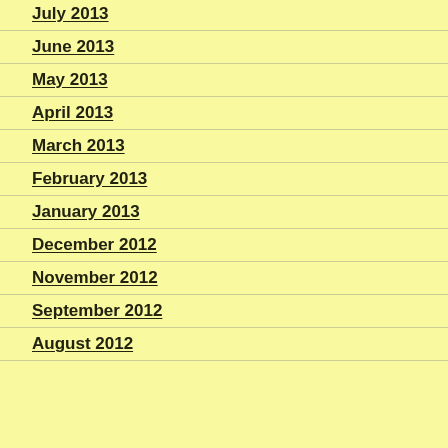July 2013
June 2013
May 2013
April 2013
March 2013
February 2013
January 2013
December 2012
November 2012
September 2012
August 2012